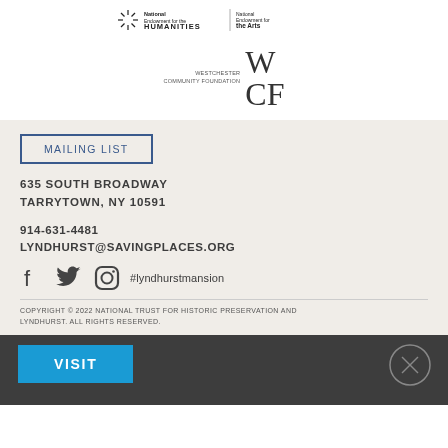[Figure (logo): National Endowment for the Humanities and National Endowment for the Arts logos at top]
[Figure (logo): Westchester Community Foundation (WCF) logo]
MAILING LIST
635 SOUTH BROADWAY
TARRYTOWN, NY 10591
914-631-4481
LYNDHURST@SAVINGPLACES.ORG
[Figure (infographic): Social media icons: Facebook, Twitter, Instagram with #lyndhurstmansion hashtag]
COPYRIGHT © 2022 NATIONAL TRUST FOR HISTORIC PRESERVATION AND LYNDHURST. ALL RIGHTS RESERVED.
VISIT